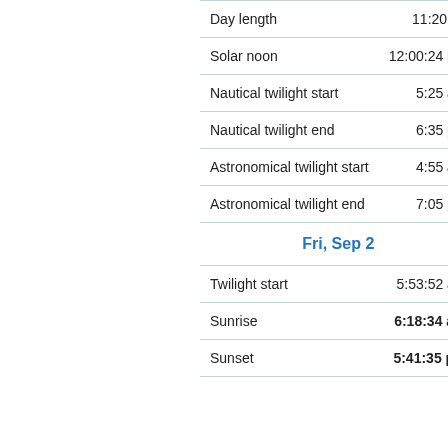|  |  |
| --- | --- |
| Day length | 11:20:47 |
| Solar noon | 12:00:24 pm |
| Nautical twilight start | 5:25 am |
| Nautical twilight end | 6:35 pm |
| Astronomical twilight start | 4:55 am |
| Astronomical twilight end | 7:05 pm |
| Fri, Sep 2 |  |
| Twilight start | 5:53:52 am |
| Sunrise | 6:18:34 am |
| Sunset | 5:41:35 pm |